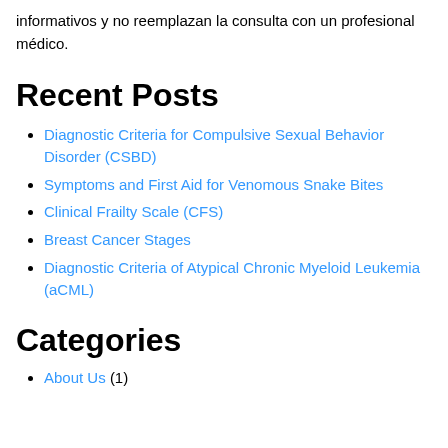informativos y no reemplazan la consulta con un profesional médico.
Recent Posts
Diagnostic Criteria for Compulsive Sexual Behavior Disorder (CSBD)
Symptoms and First Aid for Venomous Snake Bites
Clinical Frailty Scale (CFS)
Breast Cancer Stages
Diagnostic Criteria of Atypical Chronic Myeloid Leukemia (aCML)
Categories
About Us (1)